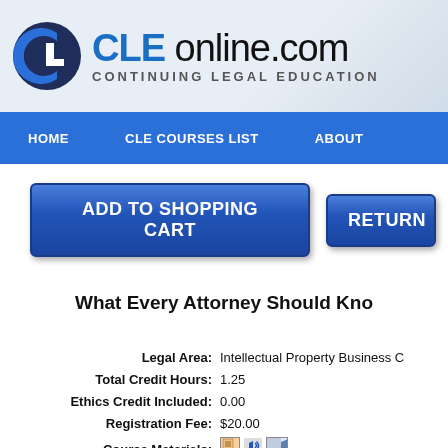[Figure (logo): CLEonline.com logo with blue CL icon and text 'CLE online.com CONTINUING LEGAL EDUCATION']
HOME   CLE COURSES LIST   ABOUT
ADD TO SHOPPING CART   RETURN
What Every Attorney Should Kno
| Field | Value |
| --- | --- |
| Legal Area: | Intellectual Property Business C |
| Total Credit Hours: | 1.25 |
| Ethics Credit Included: | 0.00 |
| Registration Fee: | $20.00 |
| Course Materials: | [icons] |
| Session END DATE: | 09/30/2022 |